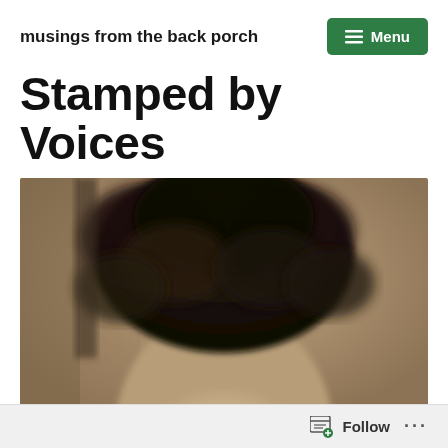musings from the back porch
Stamped by Voices
[Figure (photo): Close-up sepia-toned photograph of the top of a person's head showing dark curly hair, with a blurred beige/cream face below, vintage style portrait cropped so only hair and forehead are visible]
Follow ...